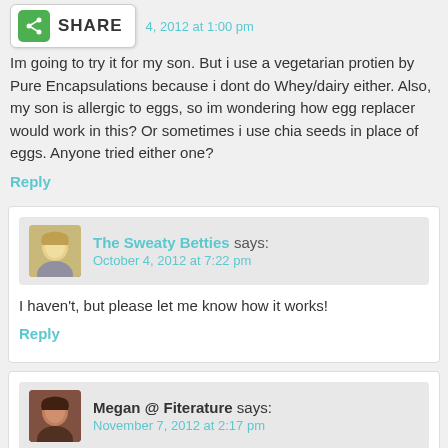[Figure (other): Share button with green icon and SHARE text]
Im going to try it for my son. But i use a vegetarian protien by Pure Encapsulations because i dont do Whey/dairy either. Also, my son is allergic to eggs, so im wondering how egg replacer would work in this? Or sometimes i use chia seeds in place of eggs. Anyone tried either one?
Reply
The Sweaty Betties says: October 4, 2012 at 7:22 pm
I haven't, but please let me know how it works!
Reply
Megan @ Fiterature says: November 7, 2012 at 2:17 pm
I use milled flax seed in place of egg whites. You have to prep it ahead of time, though. Mix 1 tablespoon ground flax...